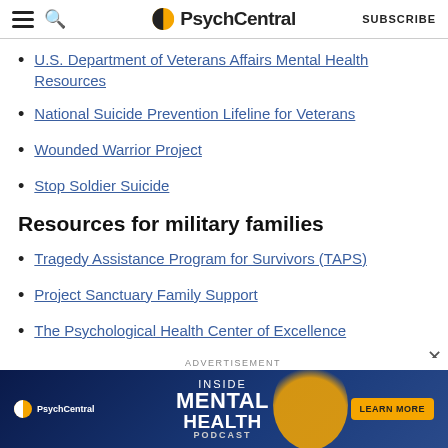PsychCentral — SUBSCRIBE
U.S. Department of Veterans Affairs Mental Health Resources
National Suicide Prevention Lifeline for Veterans
Wounded Warrior Project
Stop Soldier Suicide
Resources for military families
Tragedy Assistance Program for Survivors (TAPS)
Project Sanctuary Family Support
The Psychological Health Center of Excellence
[Figure (advertisement): PsychCentral advertisement banner for 'Inside Mental Health Podcast' with a Learn More button on dark blue background]